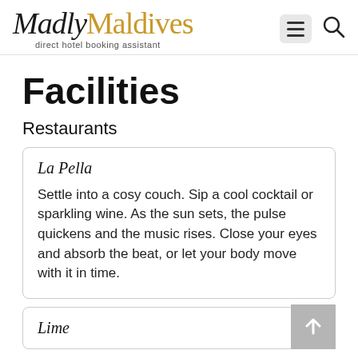MadlyMaldives - direct hotel booking assistant
Facilities
Restaurants
La Pella
Settle into a cosy couch. Sip a cool cocktail or sparkling wine. As the sun sets, the pulse quickens and the music rises. Close your eyes and absorb the beat, or let your body move with it in time.
Lime